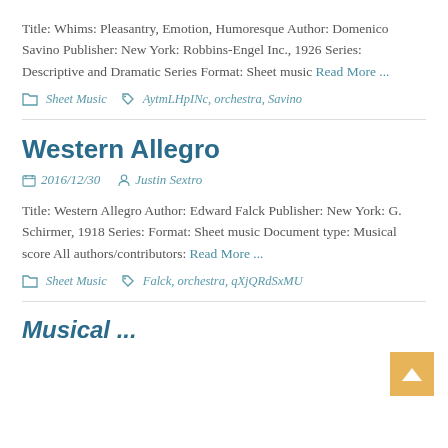Title: Whims: Pleasantry, Emotion, Humoresque Author: Domenico Savino Publisher: New York: Robbins-Engel Inc., 1926 Series: Descriptive and Dramatic Series Format: Sheet music Read More ...
Sheet Music   AytmLHpINc, orchestra, Savino
Western Allegro
2016/12/30   Justin Sextro
Title: Western Allegro Author: Edward Falck Publisher: New York: G. Schirmer, 1918 Series: Format: Sheet music Document type: Musical score All authors/contributors: Read More ...
Sheet Music   Falck, orchestra, qXjQRdSxMU
Musical ...